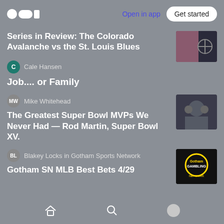Open in app | Get started
Series in Review: The Colorado Avalanche vs the St. Louis Blues
Cale Hansen
Job.... or Family
Mike Whitehead
The Greatest Super Bowl MVPs We Never Had — Rod Martin, Super Bowl XV.
Blakey Locks in Gotham Sports Network
Gotham SN MLB Best Bets 4/29
Home | Search | Profile